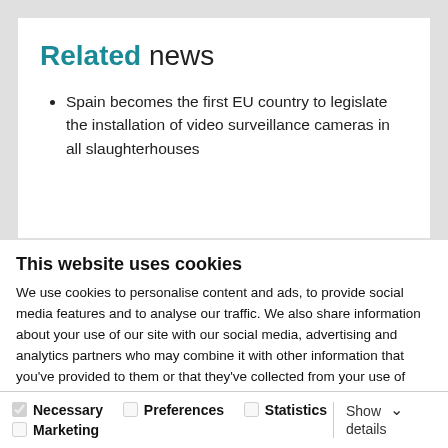Related news
Spain becomes the first EU country to legislate the installation of video surveillance cameras in all slaughterhouses
This website uses cookies
We use cookies to personalise content and ads, to provide social media features and to analyse our traffic. We also share information about your use of our site with our social media, advertising and analytics partners who may combine it with other information that you've provided to them or that they've collected from your use of their services.
Allow all cookies
Allow selection
Use necessary cookies only
Necessary  Preferences  Statistics  Marketing  Show details